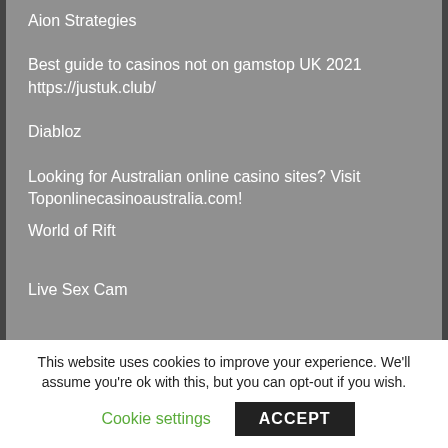Aion Strategies
Best guide to casinos not on gamstop UK 2021
https://justuk.club/
Diabloz
Looking for Australian online casino sites? Visit Toponlinecasinoaustralia.com!
World of Rift
Live Sex Cam
This website uses cookies to improve your experience. We'll assume you're ok with this, but you can opt-out if you wish.
Cookie settings
ACCEPT